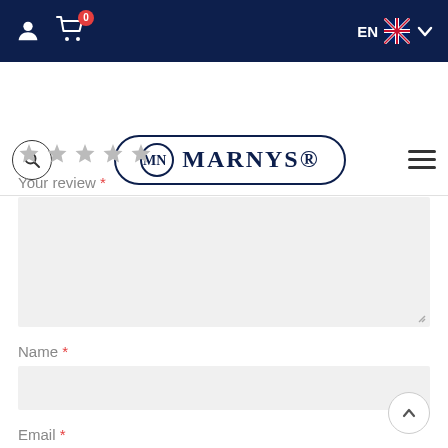[Figure (screenshot): Marnys website top navigation bar with user icon, cart with 0 items, and EN language selector]
[Figure (logo): MARNYS brand logo with MN emblem inside rounded rectangle border]
Your review *
Name *
Email *